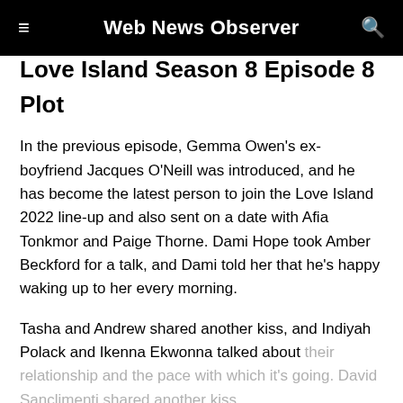Web News Observer
Love Island Season 8 Episode 8 Plot
In the previous episode, Gemma Owen's ex-boyfriend Jacques O'Neill was introduced, and he has become the latest person to join the Love Island 2022 line-up and also sent on a date with Afia Tonkmor and Paige Thorne. Dami Hope took Amber Beckford for a talk, and Dami told her that he's happy waking up to her every morning.
Tasha and Andrew shared another kiss, and Indiyah Polack and Ikenna Ekwonna talked about their relationship and the pace with which it's going. David Sanclimenti shared another kiss